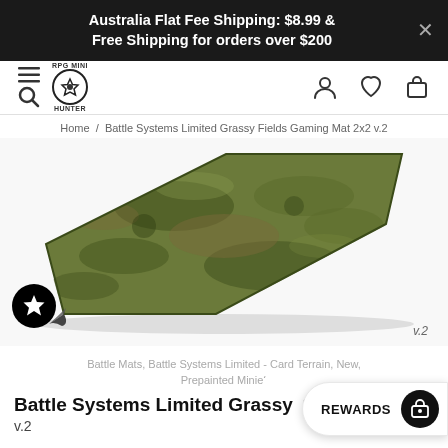Australia Flat Fee Shipping: $8.99 & Free Shipping for orders over $200
[Figure (screenshot): Website navigation bar with hamburger/search icon on left, RPG Mini Hunter logo in center-left, and user/heart/bag icons on right]
Home / Battle Systems Limited Grassy Fields Gaming Mat 2x2 v.2
[Figure (photo): Battle Systems Limited Grassy Fields Gaming Mat 2x2 v.2 - a flat gaming mat with green and brown grassy terrain texture, shown at an angle with a curled corner at the front. Has a star/favorite badge in the lower left and a v.2 label in the lower right.]
v.2
Battle Mats, Battle Systems Limited - Card Terrain, New, Prepainted Minie
Battle Systems Limited Grassy Fields Gaming Mat 2x2
v.2
REWARDS